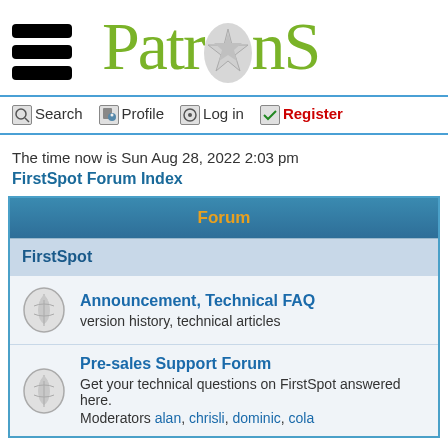[Figure (logo): PatronStar logo with hamburger menu icon on left and stylized 'PatronS' text in olive green with a compass/star icon replacing the letter 'o']
Search  Profile  Log in  Register
The time now is Sun Aug 28, 2022 2:03 pm
FirstSpot Forum Index
| Forum |
| --- |
| FirstSpot |
| Announcement, Technical FAQ
version history, technical articles |
| Pre-sales Support Forum
Get your technical questions on FirstSpot answered here.
Moderators alan, chrisli, dominic, cola |